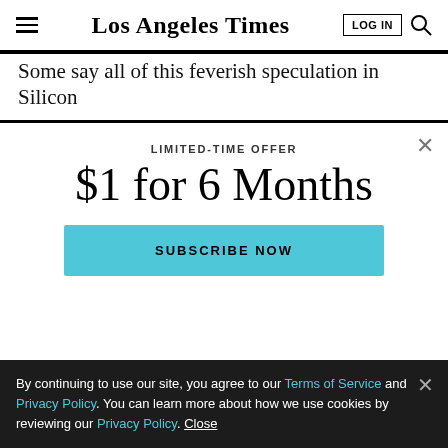Los Angeles Times | LOG IN | Search
Some say all of this feverish speculation in Silicon
[Figure (screenshot): Subscription modal overlay with close button (×), 'LIMITED-TIME OFFER' label, '$1 for 6 Months' heading, and 'SUBSCRIBE NOW' button in teal]
By continuing to use our site, you agree to our Terms of Service and Privacy Policy. You can learn more about how we use cookies by reviewing our Privacy Policy. Close